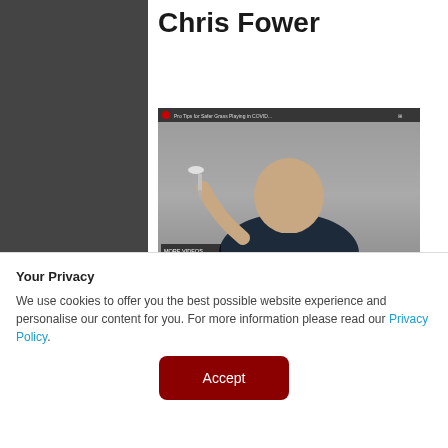Chris Fower
[Figure (screenshot): YouTube video thumbnail showing a man in a dark polo shirt holding up a golf tee toward the camera, with video player controls visible at the bottom and a video title bar at the top.]
Five Ways To Stay Safe Playing
Your Privacy
We use cookies to offer you the best possible website experience and personalise our content for you. For more information please read our Privacy Policy.